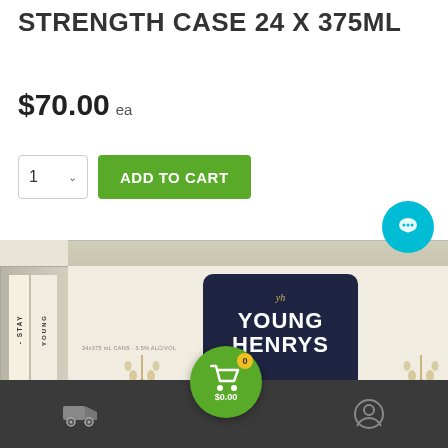STRENGTH CASE 24 X 375ML
$70.00 ea
ADD TO CART
[Figure (photo): Young Henrys beer case of 24 x 375ml cans, cream/beige colored box with dark navy badge showing 'YOUNG HENRYS' branding]
$0.00  0